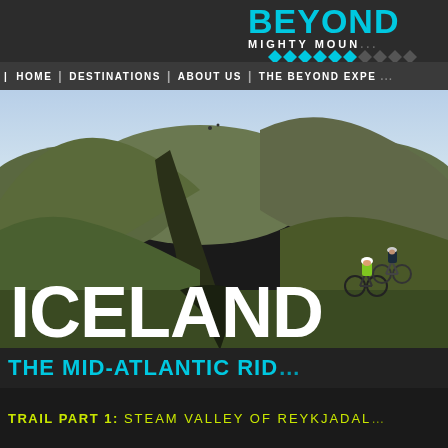[Figure (logo): BEYOND MIGHTY MOUNTAINS logo with cyan text and diamond pattern]
| HOME | DESTINATIONS | ABOUT US | THE BEYOND EXPE...
[Figure (photo): Mountain bikers riding through a volcanic green and brown hillside landscape in Iceland]
ICELAND
THE MID-ATLANTIC RID...
TRAIL PART 1: STEAM VALLEY OF REYKJADAL...